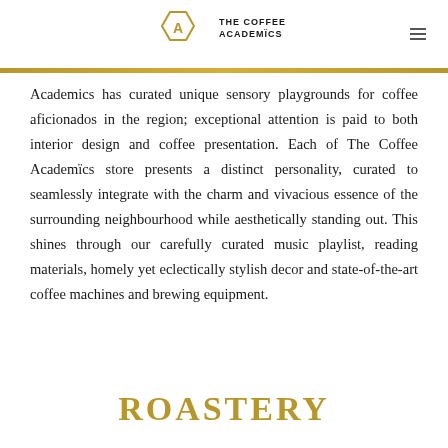THE COFFEE ACADEMICS
Academics has curated unique sensory playgrounds for coffee aficionados in the region; exceptional attention is paid to both interior design and coffee presentation. Each of The Coffee Academïcs store presents a distinct personality, curated to seamlessly integrate with the charm and vivacious essence of the surrounding neighbourhood while aesthetically standing out. This shines through our carefully curated music playlist, reading materials, homely yet eclectically stylish decor and state-of-the-art coffee machines and brewing equipment.
ROASTERY